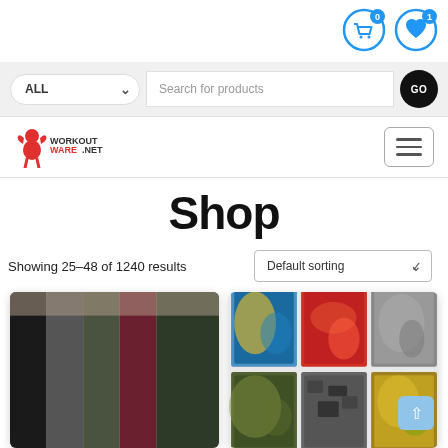[Figure (screenshot): Top navigation bar with cart icon (badge: 0) and wishlist/heart icon (badge: 1) in blue circle outlines]
[Figure (screenshot): Search bar with ALL category dropdown, 'Search for products' placeholder text input, and black circular GO button]
[Figure (logo): WORKOUTWARE.NET logo with muscular figure graphic on left, hamburger menu button on right]
Shop
Showing 25-48 of 1240 results
[Figure (screenshot): Default sorting dropdown selector]
[Figure (photo): Product photo of colorful women's leggings in multiple colors (black, gray, olive, burgundy, dark green)]
[Figure (photo): Product photo of colorful neck gaiter/face bandana multi-pack showing various tie-dye and pattern designs in a 2x3 grid]